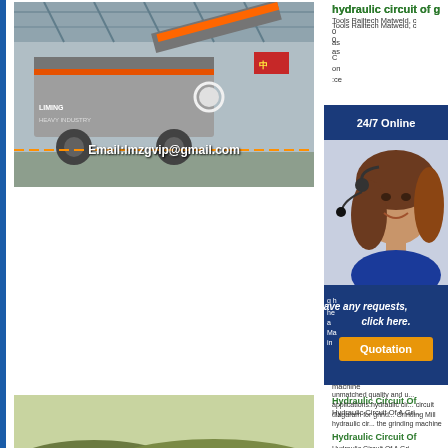hydraulic circuit of g
[Figure (photo): Industrial mobile crushing/screening machine inside a factory/warehouse, with email overlay: Email:lmzgvip@gmail.com]
[Figure (photo): Mobile crushing machine outdoors on black coal/material pile, with email overlay: Email:lmzgvip@gmail.com]
[Figure (photo): Partial view of outdoor crane or construction machine]
[Figure (screenshot): Customer support chat widget with 24/7 Online header, woman with headset photo, 'Have any requests, click here.' text, and orange Quotation button]
Tools Railtech Matweld, c
unmatched quality and u... applications.hydraulic cir... circuit diagaram for grind... Grinding Mill hydraulic cir... the grinding machine
Hydraulic Circuit Of
Hydraulic Circuit Of A Gri...